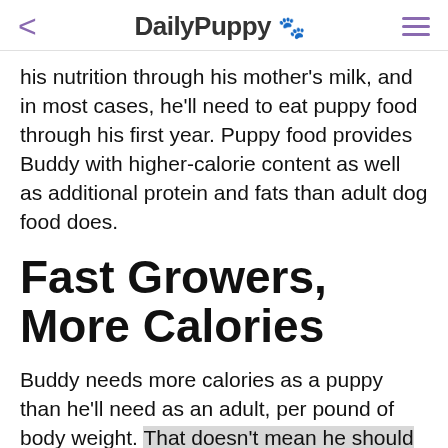< DailyPuppy 🐾 ≡
his nutrition through his mother's milk, and in most cases, he'll need to eat puppy food through his first year. Puppy food provides Buddy with higher-calorie content as well as additional protein and fats than adult dog food does.
Fast Growers, More Calories
Buddy needs more calories as a puppy than he'll need as an adult, per pound of body weight. That doesn't mean he should eat all day or as much as he wants.